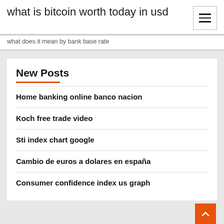what is bitcoin worth today in usd
what does it mean by bank base rate
New Posts
Home banking online banco nacion
Koch free trade video
Sti index chart google
Cambio de euros a dolares en españa
Consumer confidence index us graph